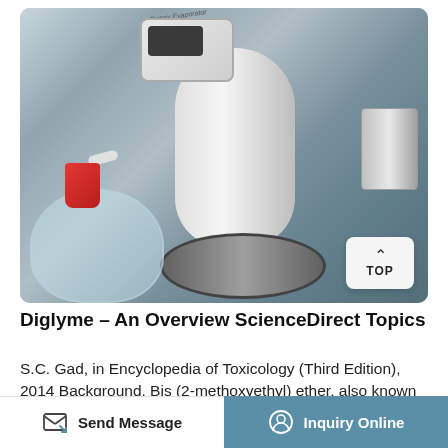[Figure (photo): Close-up photograph of a rotary evaporator (Rotary Evaporator) laboratory equipment, showing the white body, digital display screen, red-capped flask connection tube, clamp ring, and glassware, with a TOP navigation button overlay in the bottom-right corner.]
Diglyme - An Overview ScienceDirect Topics
S.C. Gad, in Encyclopedia of Toxicology (Third Edition), 2014 Background. Bis (2-methoxyethyl) ether, also known as diglyme, is a linear aliphatic diether widely used as a solvent and present as a
Send Message   Inquiry Online